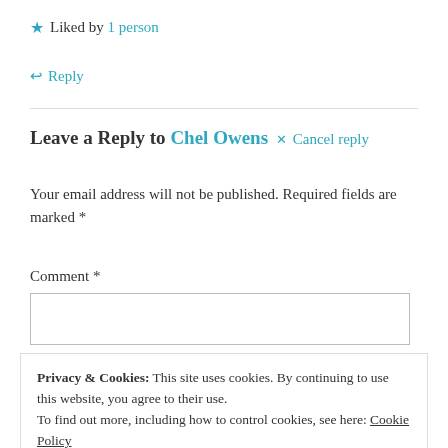★ Liked by 1 person
↩ Reply
Leave a Reply to Chel Owens  ✕ Cancel reply
Your email address will not be published. Required fields are marked *
Comment *
Privacy & Cookies: This site uses cookies. By continuing to use this website, you agree to their use. To find out more, including how to control cookies, see here: Cookie Policy
Close and accept